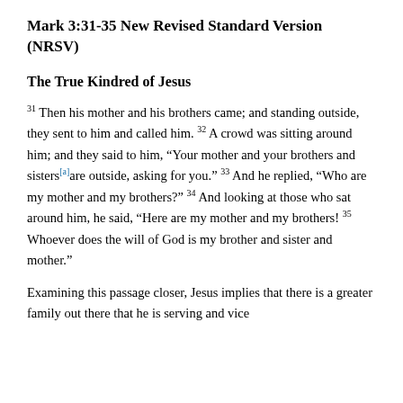Mark 3:31-35 New Revised Standard Version (NRSV)
The True Kindred of Jesus
31 Then his mother and his brothers came; and standing outside, they sent to him and called him. 32 A crowd was sitting around him; and they said to him, “Your mother and your brothers and sisters[a]are outside, asking for you.” 33 And he replied, “Who are my mother and my brothers?” 34 And looking at those who sat around him, he said, “Here are my mother and my brothers! 35 Whoever does the will of God is my brother and sister and mother.”
Examining this passage closer, Jesus implies that there is a greater family out there that he is serving and vice